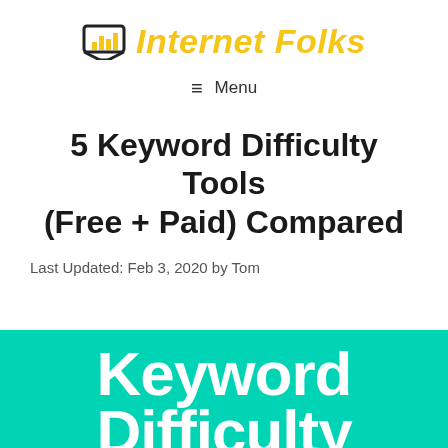Internet Folks
≡ Menu
5 Keyword Difficulty Tools (Free + Paid) Compared
Last Updated: Feb 3, 2020 by Tom
[Figure (illustration): Teal/cyan banner image with large white bold text reading 'Keyword Difficulty' — partially cropped at bottom of page]